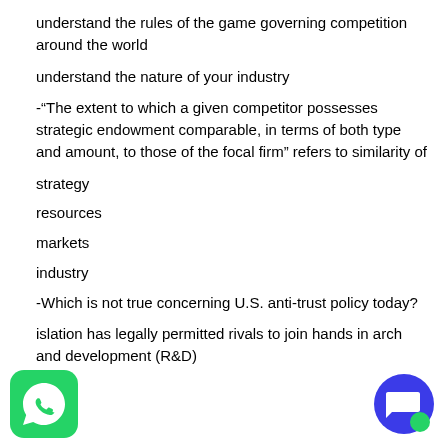understand the rules of the game governing competition around the world
understand the nature of your industry
-“The extent to which a given competitor possesses strategic endowment comparable, in terms of both type and amount, to those of the focal firm” refers to similarity of
strategy
resources
markets
industry
-Which is not true concerning U.S. anti-trust policy today?
islation has legally permitted rivals to join hands in arch and development (R&D)